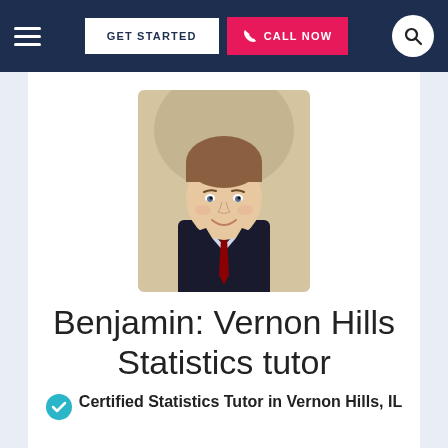GET STARTED | CALL NOW
[Figure (photo): Headshot photo of a young man in a dark suit with a red tie, smiling, with a light beige background. Round-cropped top.]
Benjamin: Vernon Hills Statistics tutor
Certified Statistics Tutor in Vernon Hills, IL